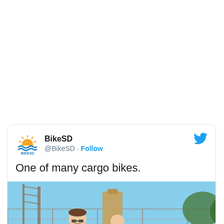[Figure (screenshot): A tweet from @BikeSD (BikeSD account). Header shows BikeSD logo (sun and waves), account name 'BikeSD', handle '@BikeSD · Follow', and Twitter bird icon. Tweet text reads 'One of many cargo bikes.' with a photo below showing two people near a chain-link fence with construction equipment in the background.]